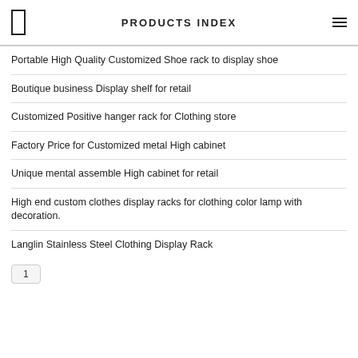PRODUCTS INDEX
Portable High Quality Customized Shoe rack to display shoe
Boutique business Display shelf for retail
Customized Positive hanger rack for Clothing store
Factory Price for Customized metal High cabinet
Unique mental assemble High cabinet for retail
High end custom clothes display racks for clothing color lamp with decoration.
Langlin Stainless Steel Clothing Display Rack
1